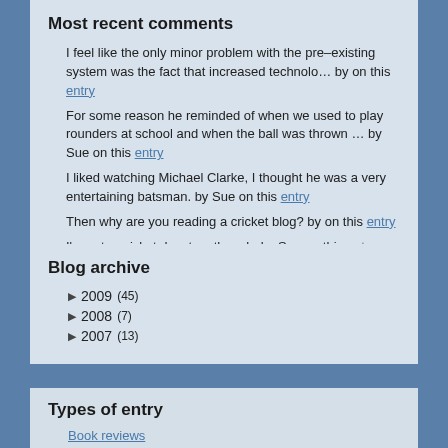Most recent comments
I feel like the only minor problem with the pre–existing system was the fact that increased technolo… by on this entry
For some reason he reminded of when we used to play rounders at school and when the ball was thrown … by Sue on this entry
I liked watching Michael Clarke, I thought he was a very entertaining batsman. by Sue on this entry
Then why are you reading a cricket blog? by on this entry
I'm not a cricket devotee, though. by Sue on this entry
Blog archive
▶ 2009 (45)
▶ 2008 (7)
▶ 2007 (13)
Types of entry
Book reviews
DVD reviews
Music reviews
Video game reviews
Movie reviews